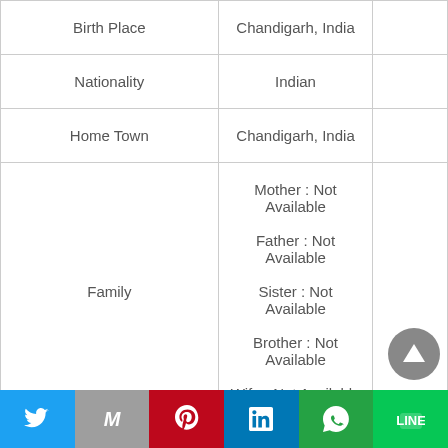|  |  |  |
| --- | --- | --- |
| Birth Place | Chandigarh, India |  |
| Nationality | Indian |  |
| Home Town | Chandigarh, India |  |
| Family | Mother : Not Available
Father : Not Available
Sister : Not Available
Brother : Not Available
Wife : Not Available |  |
| Religion | Sikhism |  |
| Address | Mumbai, |  |